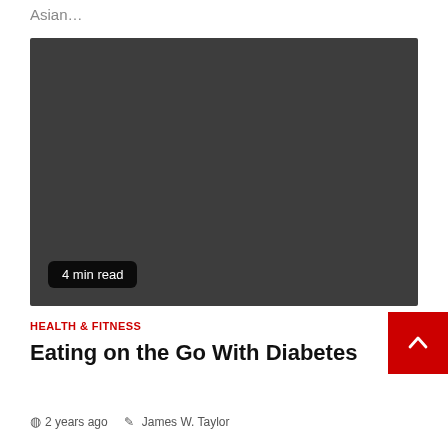Asian…
[Figure (photo): Dark gray placeholder image for article thumbnail, with a '4 min read' badge in the lower left corner.]
4 min read
HEALTH & FITNESS
Eating on the Go With Diabetes
2 years ago   James W. Taylor